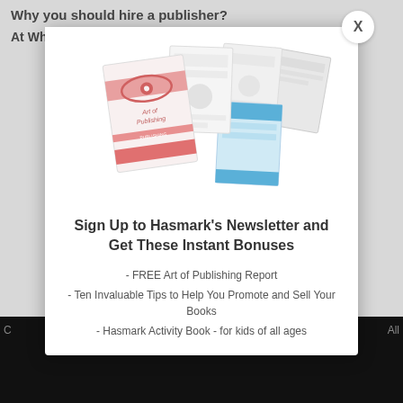Why you should hire a publisher?
At What age can I publish a book?
[Figure (illustration): Faded/ghosted collage of publishing-related book covers and documents including 'Art of Publishing' book with red logo, several other book/report covers arranged in a fan/stack layout]
Sign Up to Hasmark's Newsletter and Get These Instant Bonuses
- FREE Art of Publishing Report
- Ten Invaluable Tips to Help You Promote and Sell Your Books
- Hasmark Activity Book - for kids of all ages